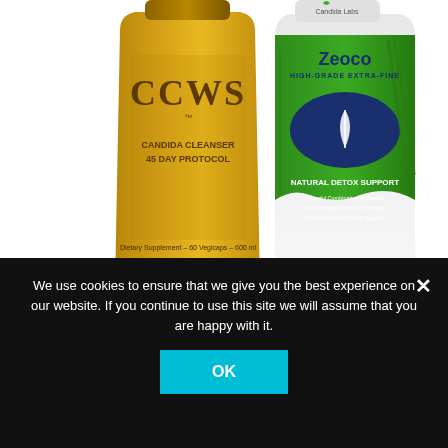[Figure (photo): Two supplement product bottles side by side: left is CCWS Candida Cleanser 45 Day Protocol (golden/amber bottle with red capsules visible at bottom), right is Candida Labs Zeoco High-Grade Extra-Fine Natural Detox Support 50 Capsules 600mg (green and blue label with bamboo imagery).]
CCWS & Zeoco
$89.00
Add to cart
We use cookies to ensure that we give you the best experience on our website. If you continue to use this site we will assume that you are happy with it.
OK